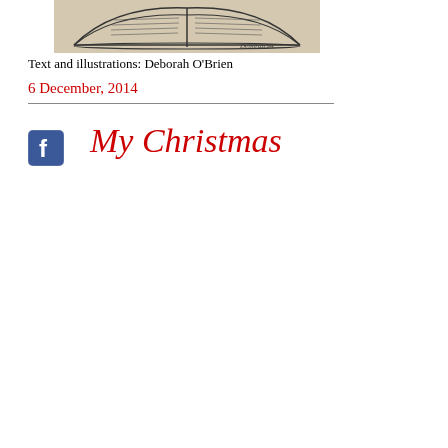[Figure (illustration): Ink sketch of an open book with handwritten text visible on pages, signed 'Deborah 94' in bottom right corner, on a beige/tan background]
Text and illustrations: Deborah O'Brien
6 December, 2014
[Figure (logo): Facebook logo icon - blue square with white 'f' letter]
My Christmas